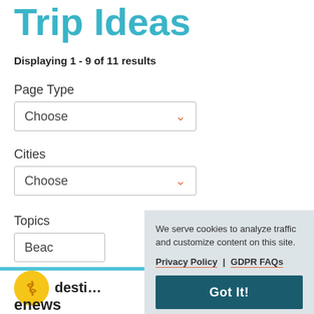Trip Ideas
Displaying 1 - 9 of 11 results
Page Type
Choose
Cities
Choose
Topics
Beach
We serve cookies to analyze traffic and customize content on this site.
Privacy Policy | GDPR FAQs
Got It!